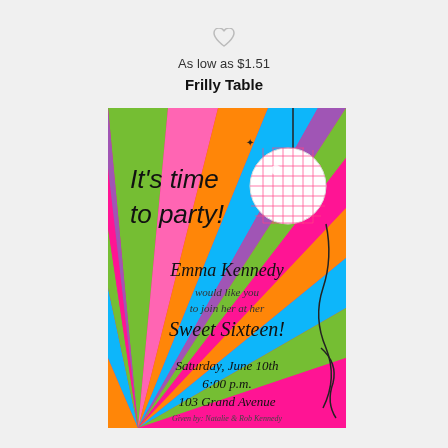[Figure (illustration): Gray heart/favorite icon at top center of page]
As low as $1.51
Frilly Table
[Figure (illustration): Sweet Sixteen party invitation card with colorful sunburst rays in pink, green, orange, blue, purple background. Features a disco ball at top right, and text reading: It's time to party! Emma Kennedy would like you to join her at her Sweet Sixteen! Saturday, June 10th 6:00 p.m. 103 Grand Avenue. Given by: Natalie & Rob Kennedy]